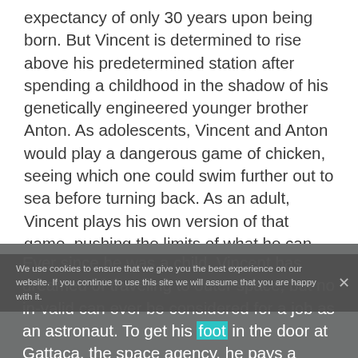expectancy of only 30 years upon being born. But Vincent is determined to rise above his predetermined station after spending a childhood in the shadow of his genetically engineered younger brother Anton. As adolescents, Vincent and Anton would play a dangerous game of chicken, seeing which one could swim further out to sea before turning back. As an adult, Vincent plays his own version of that game, pushing the limits of what he can accomplish as an infiltrator among the genetically superior.
Ever since he was a child, Vincent has dreamed of traveling to outer space, but no in-valid can ever be considered for a job as an astronaut. To get his foot in the door at Gattaca, the space agency, he pays a black
We use cookies to ensure that we give you the best experience on our website. If you continue to use this site we will assume that you are happy with it.